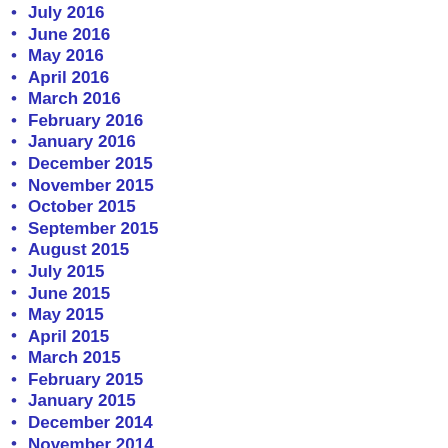July 2016
June 2016
May 2016
April 2016
March 2016
February 2016
January 2016
December 2015
November 2015
October 2015
September 2015
August 2015
July 2015
June 2015
May 2015
April 2015
March 2015
February 2015
January 2015
December 2014
November 2014
October 2014
September 2014
August 2014
July 2014